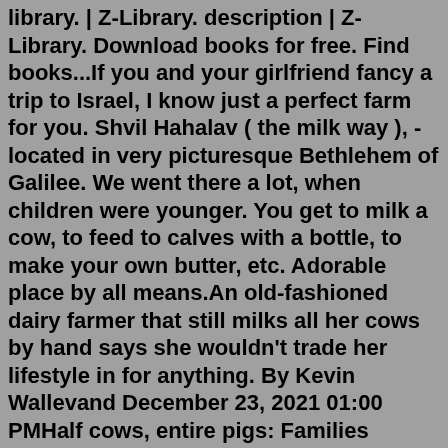library. | Z-Library. description | Z-Library. Download books for free. Find books...If you and your girlfriend fancy a trip to Israel, I know just a perfect farm for you. Shvil Hahalav ( the milk way ), - located in very picturesque Bethlehem of Galilee. We went there a lot, when children were younger. You get to milk a cow, to feed to calves with a bottle, to make your own butter, etc. Adorable place by all means.An old-fashioned dairy farmer that still milks all her cows by hand says she wouldn't trade her lifestyle in for anything. By Kevin Wallevand December 23, 2021 01:00 PMHalf cows, entire pigs: Families buying in bulk... California weighs giving fast food workers more power... BOOM: Mickey Mantle card sells for record $12.6 million... NDakota fights China company building mill near Air Force base... Update: drudge app iphone, ipad... Android...Holland Cows Group specialise in importing and exporting livestock. We oversee the entire process from animal selection and procurement to livestock transport. From Dairy